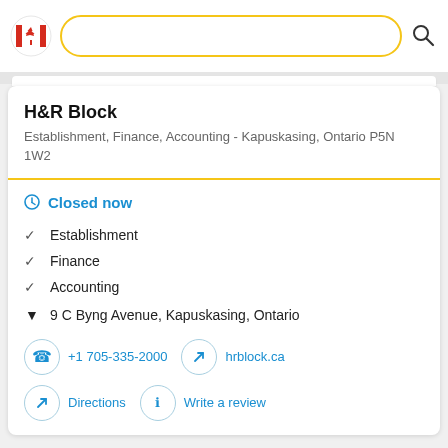[Figure (logo): Canadian flag circular icon on left side of top navigation bar]
H&R Block
Establishment, Finance, Accounting - Kapuskasing, Ontario P5N 1W2
Closed now
Establishment
Finance
Accounting
9 C Byng Avenue, Kapuskasing, Ontario
+1 705-335-2000
hrblock.ca
Directions
Write a review